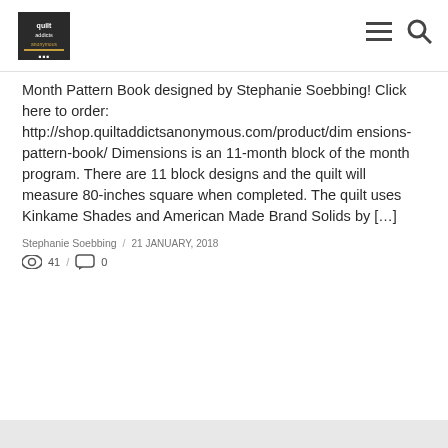[Figure (logo): Quilt Addicts Anonymous logo — small square dark background with quilt-related text/icon]
Month Pattern Book designed by Stephanie Soebbing! Click here to order: http://shop.quiltaddictsanonymous.com/product/dimensions-pattern-book/ Dimensions is an 11-month block of the month program. There are 11 block designs and the quilt will measure 80-inches square when completed. The quilt uses Kinkame Shades and American Made Brand Solids by […]
Stephanie Soebbing / 21 JANUARY, 2018
41 / 0